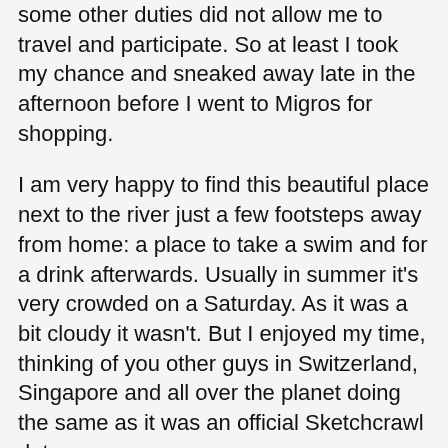some other duties did not allow me to travel and participate. So at least I took my chance and sneaked away late in the afternoon before I went to Migros for shopping.
I am very happy to find this beautiful place next to the river just a few footsteps away from home: a place to take a swim and for a drink afterwards. Usually in summer it's very crowded on a Saturday. As it was a bit cloudy it wasn't. But I enjoyed my time, thinking of you other guys in Switzerland, Singapore and all over the planet doing the same as it was an official Sketchcrawl date.
If I am sketching a place like here the living atmosphere is strongly related to the people. Especially as I was sitting in the middle. When I was sketching often along Langstrasse two years ago I found architecture as a subject just could explain part of the typical atmosphere. The other was the people representing it.